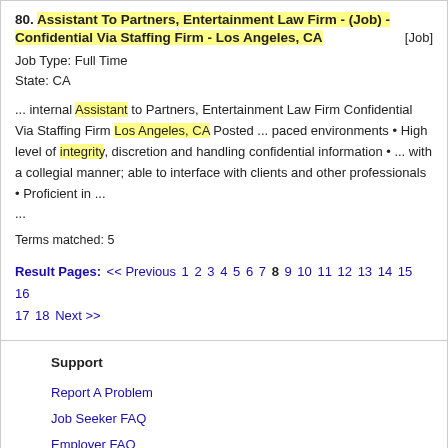80. Assistant To Partners, Entertainment Law Firm - (Job) - Confidential Via Staffing Firm - Los Angeles, CA [Job] Job Type: Full Time State: CA
... internal Assistant to Partners, Entertainment Law Firm Confidential Via Staffing Firm Los Angeles, CA Posted ... paced environments • High level of integrity, discretion and handling confidential information • ... with a collegial manner; able to interface with clients and other professionals • Proficient in ...
Terms matched: 5
Result Pages: << Previous 1 2 3 4 5 6 7 8 9 10 11 12 13 14 15 16 17 18 Next >>
Support
Report A Problem
Job Seeker FAQ
Employer FAQ
Contact Us
Employer